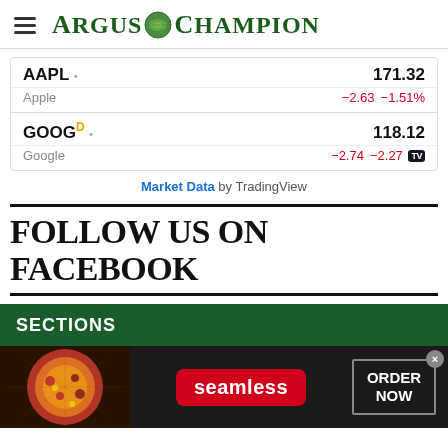Argus Champion
| Ticker | Price | Change | Change% |
| --- | --- | --- | --- |
| AAPL | 171.32 | -2.63 | -1.51% |
| Apple |  |  |  |
| GOOG D | 118.12 | -2.74 | -2.27% |
| Google |  |  |  |
Market Data by TradingView
FOLLOW US ON FACEBOOK
SECTIONS
[Figure (infographic): Seamless food delivery advertisement banner showing pizza image on left, Seamless logo in center, and ORDER NOW button with close X on right]